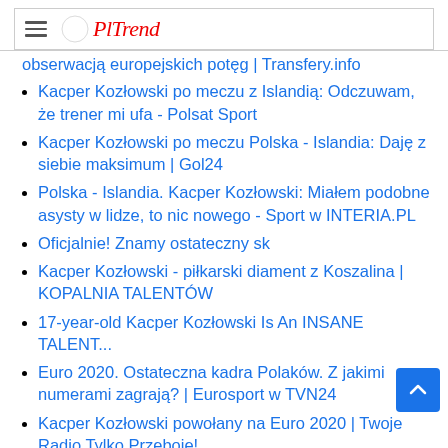PLTrend
obserwacją europejskich potęg | Transfery.info
Kacper Kozłowski po meczu z Islandią: Odczuwam, że trener mi ufa - Polsat Sport
Kacper Kozłowski po meczu Polska - Islandia: Daję z siebie maksimum | Gol24
Polska - Islandia. Kacper Kozłowski: Miałem podobne asysty w lidze, to nic nowego - Sport w INTERIA.PL
Oficjalnie! Znamy ostateczny sk
Kacper Kozłowski - piłkarski diament z Koszalina | KOPALNIA TALENTÓW
17-year-old Kacper Kozłowski Is An INSANE TALENT...
Euro 2020. Ostateczna kadra Polaków. Z jakimi numerami zagrają? | Eurosport w TVN24
Kacper Kozłowski powołany na Euro 2020 | Twoje Radio Tylko Przeboje!
Kacper Kozłowski: Myślę, że jeszcze dostanę szansę | Polska - Andora